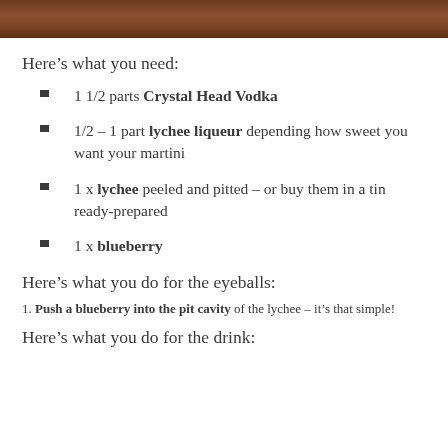[Figure (photo): Top portion of a wooden surface or background image, cropped at the top of the page]
Here’s what you need:
1 1/2 parts Crystal Head Vodka
1/2 – 1 part lychee liqueur depending how sweet you want your martini
1 x lychee peeled and pitted – or buy them in a tin ready-prepared
1 x blueberry
Here’s what you do for the eyeballs:
1. Push a blueberry into the pit cavity of the lychee – it’s that simple!
Here’s what you do for the drink: